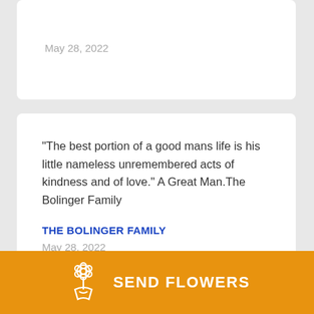May 28, 2022
"The best portion of a good mans life is his little nameless unremembered acts of kindness and of love." A Great Man.The Bolinger Family
THE BOLINGER FAMILY
May 28, 2022
Out deepest condolences are with the family
SEND FLOWERS